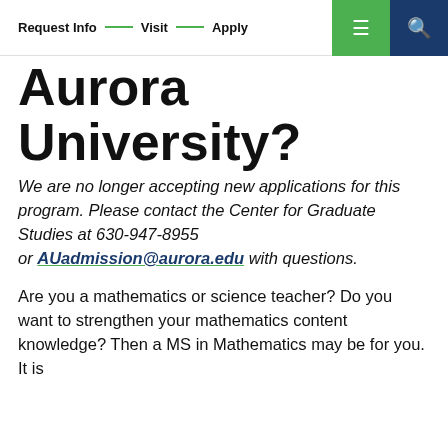Request Info — Visit — Apply
Aurora University?
We are no longer accepting new applications for this program. Please contact the Center for Graduate Studies at 630-947-8955 or AUadmission@aurora.edu with questions.
Are you a mathematics or science teacher? Do you want to strengthen your mathematics content knowledge? Then a MS in Mathematics may be for you. It is